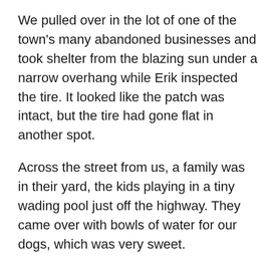We pulled over in the lot of one of the town's many abandoned businesses and took shelter from the blazing sun under a narrow overhang while Erik inspected the tire. It looked like the patch was intact, but the tire had gone flat in another spot.
Across the street from us, a family was in their yard, the kids playing in a tiny wading pool just off the highway. They came over with bowls of water for our dogs, which was very sweet.
I took Badger and walked around the town in the heat, just to check things out while Erik and our friend worked on the tire. There were bridges across the river nearby, so I was hoping to find a pleasant place to wait or even splash around. I didn't find that, but I did find the Fall River Mills hotel, which had some tables and chairs on a shady veranda. I went back and fetched my